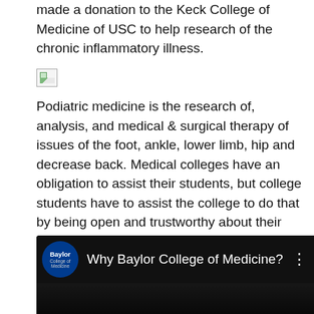made a donation to the Keck College of Medicine of USC to help research of the chronic inflammatory illness.
[Figure (illustration): Broken/missing image placeholder (small icon)]
Podiatric medicine is the research of, analysis, and medical & surgical therapy of issues of the foot, ankle, lower limb, hip and decrease back. Medical colleges have an obligation to assist their students, but college students have to assist the college to do that by being open and trustworthy about their health. For example, Music programs and Music Expertise programs can have exactly the identical code despite being very completely different programmes with fairly distinct educational and career outcomes.
[Figure (illustration): Broken/missing image placeholder (small icon)]
[Figure (screenshot): Video embed thumbnail for 'Why Baylor College of Medicine?' with Baylor College of Medicine logo and dark background showing outdoor scene]